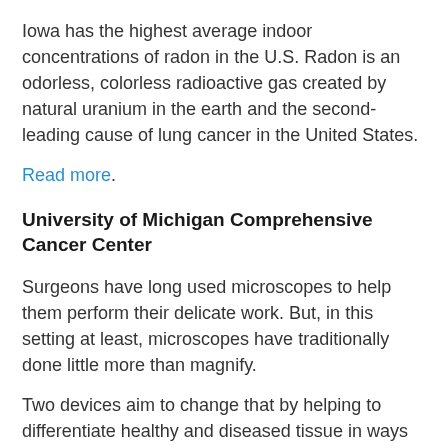Iowa has the highest average indoor concentrations of radon in the U.S. Radon is an odorless, colorless radioactive gas created by natural uranium in the earth and the second-leading cause of lung cancer in the United States.
Read more.
University of Michigan Comprehensive Cancer Center
Surgeons have long used microscopes to help them perform their delicate work. But, in this setting at least, microscopes have traditionally done little more than magnify.
Two devices aim to change that by helping to differentiate healthy and diseased tissue in ways that are practical and speedy enough for use in the operating room. One microscope takes advantage of stimulated Raman scattering (SRS), the other near-infrared (NIR)...